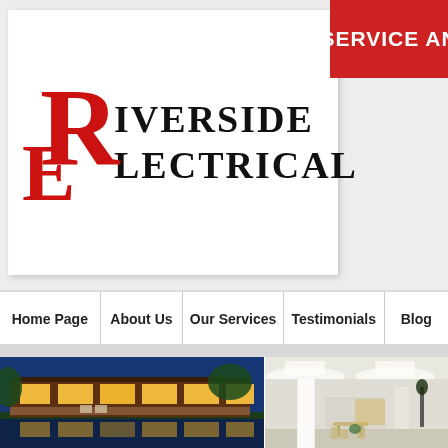[Figure (logo): Riverside Electrical company logo with large red R and E letters, black serif text reading RIVERSIDE ELECTRICAL]
[Figure (infographic): Red banner in top right corner with white text reading SERVICE AN (truncated)]
Home Page | About Us | Our Services | Testimonials | Blog
[Figure (photo): Night photo of a house with pool reflection, warm interior lighting, tropical garden]
[Figure (photo): Interior photo of a bright commercial space with white columns, ceiling lights, and wooden furniture]